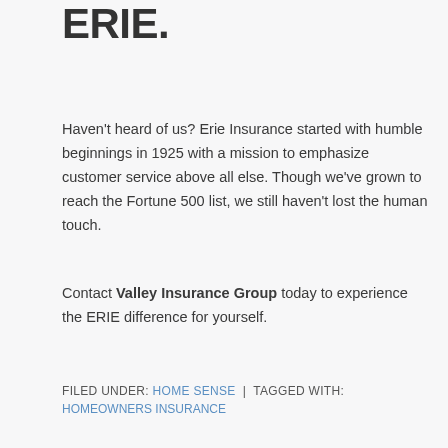ERIE.
Haven't heard of us? Erie Insurance started with humble beginnings in 1925 with a mission to emphasize customer service above all else. Though we've grown to reach the Fortune 500 list, we still haven't lost the human touch.
Contact Valley Insurance Group today to experience the ERIE difference for yourself.
FILED UNDER: HOME SENSE | TAGGED WITH: HOMEOWNERS INSURANCE